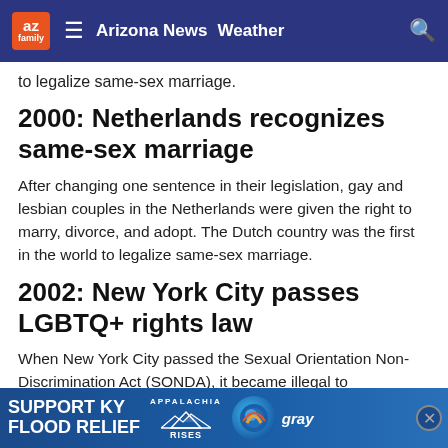az family | Arizona News | Weather
to legalize same-sex marriage.
2000: Netherlands recognizes same-sex marriage
After changing one sentence in their legislation, gay and lesbian couples in the Netherlands were given the right to marry, divorce, and adopt. The Dutch country was the first in the world to legalize same-sex marriage.
2002: New York City passes LGBTQ+ rights law
When New York City passed the Sexual Orientation Non-Discrimination Act (SONDA), it became illegal to discriminate in work, housing, school, or public services based
[Figure (infographic): Advertisement banner: SUPPORT KY FLOOD RELIEF with Appalachia Rises and Gray TV logos]
2003: